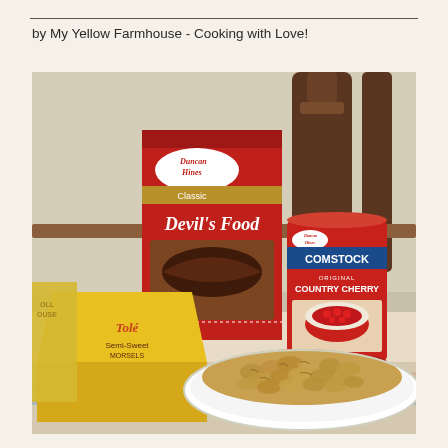by My Yellow Farmhouse - Cooking with Love!
[Figure (photo): A kitchen table with baking ingredients: a Duncan Hines Classic Devil's Food cake mix box (red), a Duncan Hines Comstock Original Country Cherry can (red and white), a Nestle Toll House Semi-Sweet Morsels bag (yellow), and a white plate piled with walnut pieces. A wooden chair is visible in the background.]